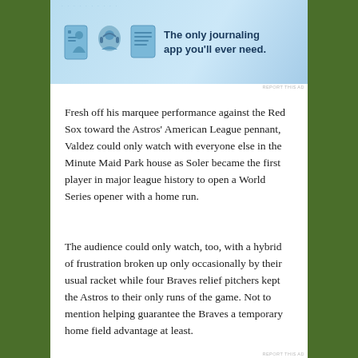[Figure (screenshot): Advertisement banner: journaling app ad with icons and text 'The only journaling app you'll ever need.']
Fresh off his marquee performance against the Red Sox toward the Astros' American League pennant, Valdez could only watch with everyone else in the Minute Maid Park house as Soler became the first player in major league history to open a World Series opener with a home run.
The audience could only watch, too, with a hybrid of frustration broken up only occasionally by their usual racket while four Braves relief pitchers kept the Astros to their only runs of the game. Not to mention helping guarantee the Braves a temporary home field advantage at least.
Advertisements